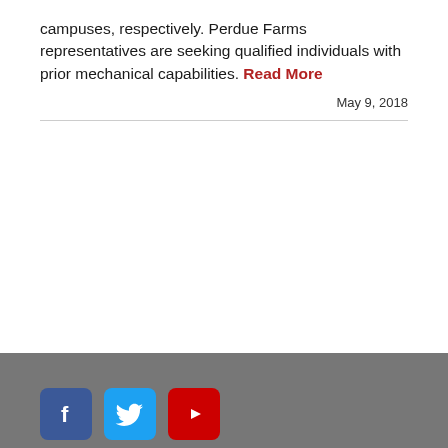campuses, respectively. Perdue Farms representatives are seeking qualified individuals with prior mechanical capabilities. Read More
May 9, 2018
[Figure (other): Social media icons for Facebook, Twitter, and YouTube displayed in a gray footer bar]